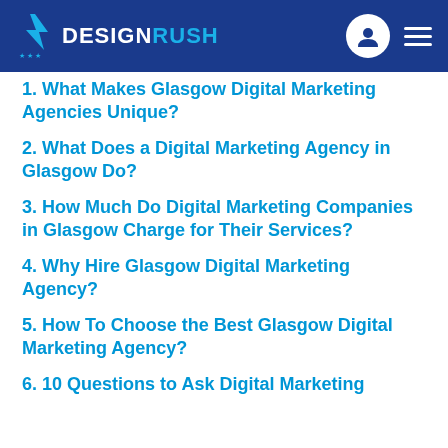DESIGNRUSH
1. What Makes Glasgow Digital Marketing Agencies Unique?
2. What Does a Digital Marketing Agency in Glasgow Do?
3. How Much Do Digital Marketing Companies in Glasgow Charge for Their Services?
4. Why Hire Glasgow Digital Marketing Agency?
5. How To Choose the Best Glasgow Digital Marketing Agency?
6. 10 Questions to Ask Digital Marketing